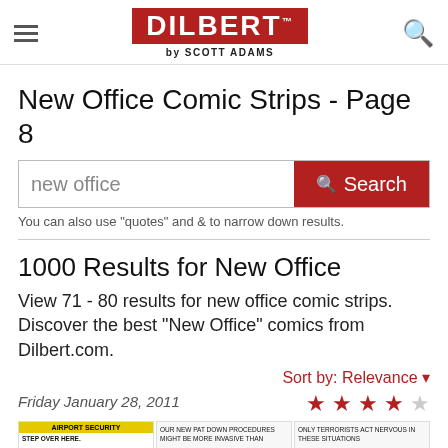Dilbert by Scott Adams
New Office Comic Strips - Page 8
new office [search bar]
You can also use "quotes" and & to narrow down results.
1000 Results for New Office
View 71 - 80 results for new office comic strips. Discover the best "New Office" comics from Dilbert.com.
Sort by: Relevance
Friday January 28, 2011
[Figure (illustration): Three Dilbert comic strip thumbnails: first panel shows 'AIRPORT SECURITY / STEP OVER HERE.' with yellow header; second panel shows 'OUR NEW PAT DOWN PROCEDURES MIGHT BE MORE INVASIVE THAN'; third panel shows 'ONLY TERRORISTS ACT NERVOUS IN THESE SITUATIONS']